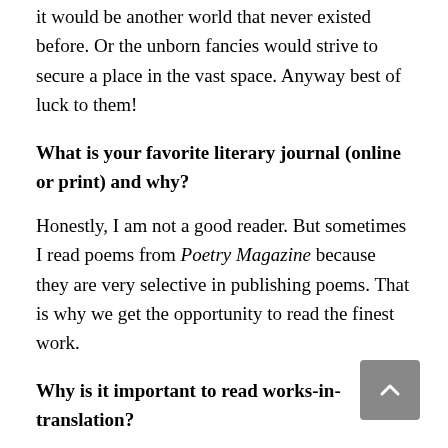it would be another world that never existed before. Or the unborn fancies would strive to secure a place in the vast space. Anyway best of luck to them!
What is your favorite literary journal (online or print) and why?
Honestly, I am not a good reader. But sometimes I read poems from Poetry Magazine because they are very selective in publishing poems. That is why we get the opportunity to read the finest work.
Why is it important to read works-in-translation?
I think to be an actual global citizen we have to read